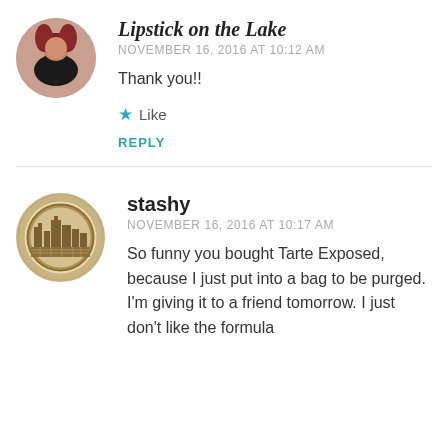[Figure (photo): Circular avatar photo of Lipstick on the Lake blogger, a woman with red hair]
Lipstick on the Lake
NOVEMBER 16, 2016 AT 10:12 AM
Thank you!!
★ Like
REPLY
[Figure (logo): Circular badge logo for stashy with a city/building illustration in tan/brown tones]
stashy
NOVEMBER 16, 2016 AT 10:17 AM
So funny you bought Tarte Exposed, because I just put into a bag to be purged. I'm giving it to a friend tomorrow. I just don't like the formula